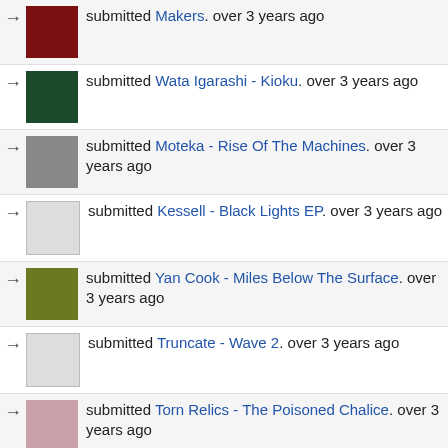submitted Makers. over 3 years ago
submitted Wata Igarashi - Kioku. over 3 years ago
submitted Moteka - Rise Of The Machines. over 3 years ago
submitted Kessell - Black Lights EP. over 3 years ago
submitted Yan Cook - Miles Below The Surface. over 3 years ago
submitted Truncate - Wave 2. over 3 years ago
submitted Torn Relics - The Poisoned Chalice. over 3 years ago
submitted Epi Centrum - Excrescence. over 3 years ago
submitted Kessell - Granulart Compilation #06. over 3 years ago
submitted Binny (2), Volksfreude - Life Marvel. over 4 years ago
submitted DJ T-1000 - Message Discipline EP. over 4 years ago